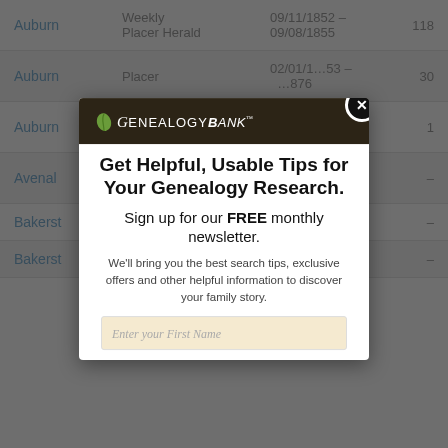| City | Publication | Dates | Count |
| --- | --- | --- | --- |
| Auburn | Weekly Placer Herald | 09/11/1852 – 09/08/1855 | 118 |
| Auburn | Placer | 02/01/1[8]53 – [18]76 | 30 |
| Auburn |  | 1853 – 1853 | 1 |
| Avenal |  | 003 – 007 | – |
| Bakerst |  | 002 – | – |
| Bakerst |  | 008 – | – |
[Figure (other): GenealogyBank newsletter signup modal popup overlay. Dark brown header with GenealogyBank logo (leaf icon and italic script text). White body with bold headline 'Get Helpful, Usable Tips for Your Genealogy Research.', subheading 'Sign up for our FREE monthly newsletter.', description text 'We'll bring you the best search tips, exclusive offers and other helpful information to discover your family story.', and an input field placeholder 'Enter your First Name'. Close button (X) in top-right corner.]